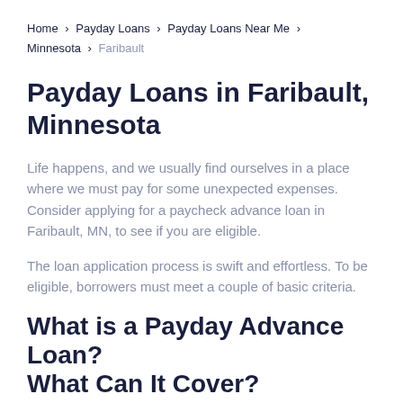Home > Payday Loans > Payday Loans Near Me > Minnesota > Faribault
Payday Loans in Faribault, Minnesota
Life happens, and we usually find ourselves in a place where we must pay for some unexpected expenses. Consider applying for a paycheck advance loan in Faribault, MN, to see if you are eligible.
The loan application process is swift and effortless. To be eligible, borrowers must meet a couple of basic criteria.
What is a Payday Advance Loan? What Can It Cover?